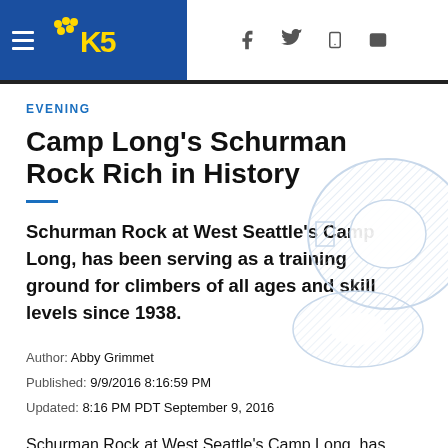KING 5 News website header with navigation and social icons
EVENING
Camp Long's Schurman Rock Rich in History
Schurman Rock at West Seattle's Camp Long, has been serving as a training ground for climbers of all ages and skill levels since 1938.
Author: Abby Grimmet
Published: 9/9/2016 8:16:59 PM
Updated: 8:16 PM PDT September 9, 2016
Schurman Rock at West Seattle's Camp Long, has been